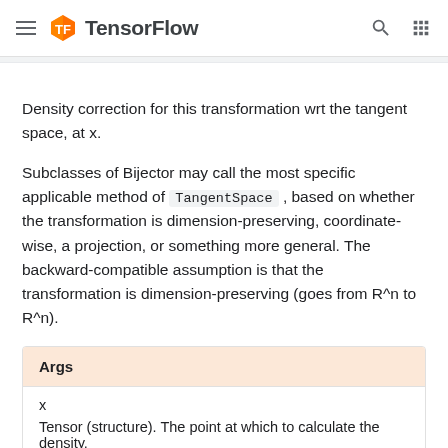TensorFlow
Density correction for this transformation wrt the tangent space, at x.
Subclasses of Bijector may call the most specific applicable method of TangentSpace , based on whether the transformation is dimension-preserving, coordinate-wise, a projection, or something more general. The backward-compatible assumption is that the transformation is dimension-preserving (goes from R^n to R^n).
| Args |
| --- |
| x | Tensor (structure). The point at which to calculate the density. |